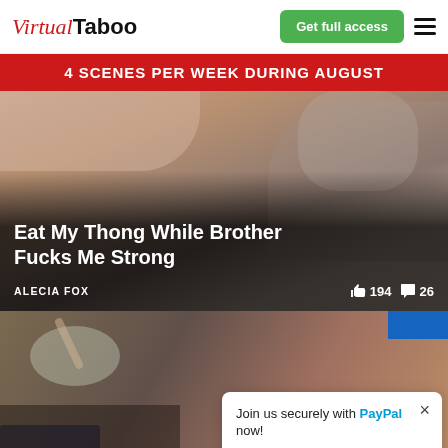Virtual Taboo | Get full access
4 SCENES PER WEEK DURING AUGUST
[Figure (photo): Close-up adult content hero image with overlay text: 'Eat My Thong While Brother Fucks Me Strong' by ALECIA FOX. 194 likes, 26 comments.]
[Figure (screenshot): Bottom section showing a partial lifestyle photo with a popup card. Popup reads: 'Join us securely with PayPal now!' with payment logos: VISA, Mastercard, DISCOVER, e, PayPal.]